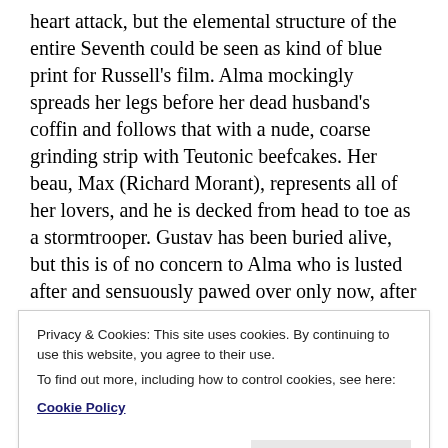heart attack, but the elemental structure of the entire Seventh could be seen as kind of blue print for Russell's film. Alma mockingly spreads her legs before her dead husband's coffin and follows that with a nude, coarse grinding strip with Teutonic beefcakes. Her beau, Max (Richard Morant), represents all of her lovers, and he is decked from head to toe as a stormtrooper. Gustav has been buried alive, but this is of no concern to Alma who is lusted after and sensuously pawed over only now, after she has emerged from her husband's domineering shadow. Mahler is cremated in an oven, but his eyes remain untouched to witness her
Privacy & Cookies: This site uses cookies. By continuing to use this website, you agree to their use.
To find out more, including how to control cookies, see here: Cookie Policy
mixes of banality and nobility, the profound and the